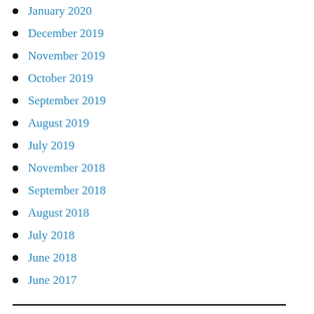January 2020
December 2019
November 2019
October 2019
September 2019
August 2019
July 2019
November 2018
September 2018
August 2018
July 2018
June 2018
June 2017